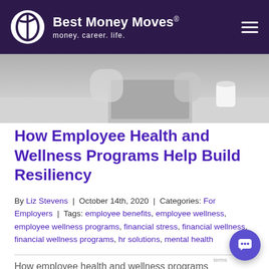Best Money Moves® money. career. life.
[Figure (photo): Hero image showing a person at a desk with a laptop and coffee cup, muted gray tones]
How Employee Health and Wellness Programs Help Build Resiliency
By Liz Stevens | October 14th, 2020 | Categories: For Employers | Tags: employee benefits, employee wellness, employee wellness programs, financial stress, financial wellness, financial wellness programs, hr solutions, mental health
How employee health and wellness programs